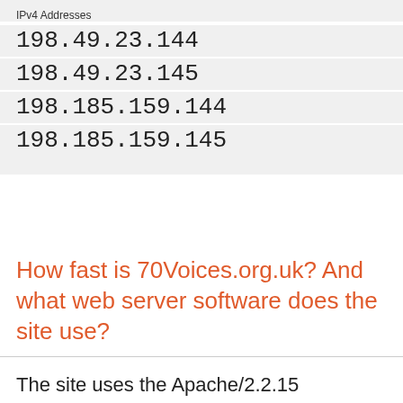IPv4 Addresses
198.49.23.144
198.49.23.145
198.185.159.144
198.185.159.145
How fast is 70Voices.org.uk? And what web server software does the site use?
The site uses the Apache/2.2.15 (CentOS) web server software.